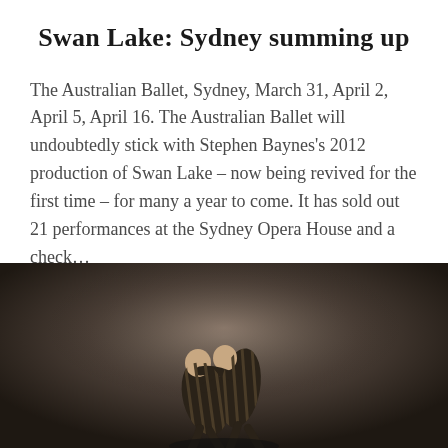Swan Lake: Sydney summing up
The Australian Ballet, Sydney, March 31, April 2, April 5, April 16. The Australian Ballet will undoubtedly stick with Stephen Baynes's 2012 production of Swan Lake – now being revived for the first time – for many a year to come. It has sold out 21 performances at the Sydney Opera House and a check…
READ MORE
[Figure (photo): Two ballet dancers in striped costume performing Swan Lake on a dark, moody stage background]